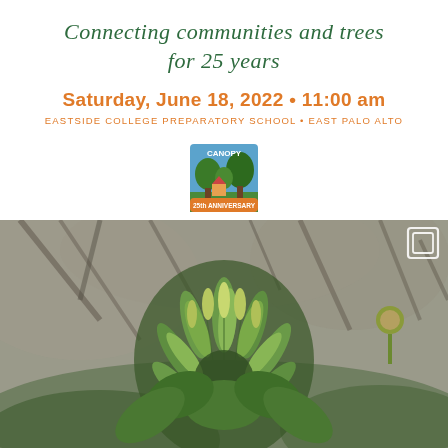Connecting communities and trees for 25 years
Saturday, June 18, 2022 • 11:00 am
EASTSIDE COLLEGE PREPARATORY SCHOOL • EAST PALO ALTO
[Figure (logo): Canopy 25th Anniversary logo with trees and house icon]
[Figure (photo): Close-up macro photo of young green tree leaves budding on branches, with blurred background of bare branches. A second bud is visible on the right side.]